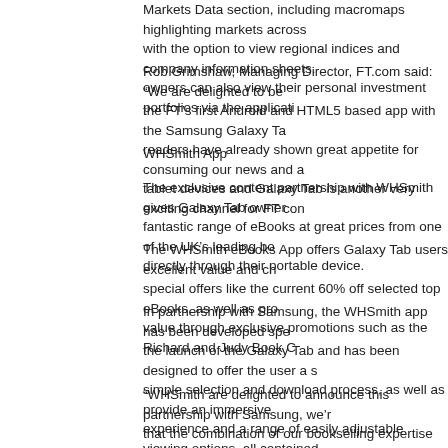Markets Data section, including macromaps highlighting markets across with the option to view regional indices and company information sheets. owners can also view their personal investment portfolios via the applicati
Rob Grimshaw, Managing Director, FT.com said: "We are delighted to be the FT's first Android and HTML5 based app with the Samsung Galaxy Ta readers have already shown great appetite for consuming our news and a tablet devices and Galaxy Tab is another very exciting channel for FT con
WHSmith App
The exclusive content partnership with WHSmith gives Galaxy Tab owner fantastic range of eBooks at great prices from one of the UK's leading bo directly through their portable device.
The WHSmith eBooks App offers Galaxy Tab users excellent value and ch special offers like the current 60% off selected top eBooks, as well as pro value through exclusive promotions such as the Richard and Judy Book C
In partnership with Samsung, the WHSmith app has been developed spe the launch of the Galaxy Tab and has been designed to offer the user a s simple selection and download process, as well as provide an immersive experience and a range of easily adjustable viewing options, all contained App.
"WHSmith are delighted to announce this partnership with Samsung, we'r that the combination of our bookselling expertise with their electronics inn resulting in a Books App which we'd be able to release to all the...